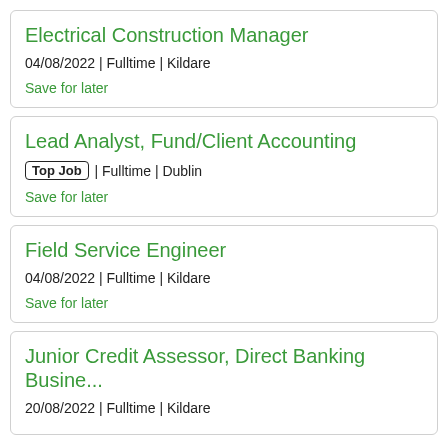Electrical Construction Manager
04/08/2022 | Fulltime | Kildare
Save for later
Lead Analyst, Fund/Client Accounting
Top Job | Fulltime | Dublin
Save for later
Field Service Engineer
04/08/2022 | Fulltime | Kildare
Save for later
Junior Credit Assessor, Direct Banking Busine...
20/08/2022 | Fulltime | Kildare